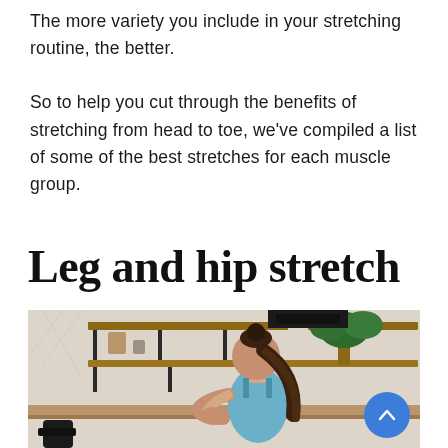The more variety you include in your stretching routine, the better.

So to help you cut through the benefits of stretching from head to toe, we've compiled a list of some of the best stretches for each muscle group.
Leg and hip stretch
[Figure (photo): A woman in athletic wear doing a stretch in a modern kitchen setting, with shelves and a plant visible in the background. A blue scroll-to-top button is visible in the bottom right corner.]